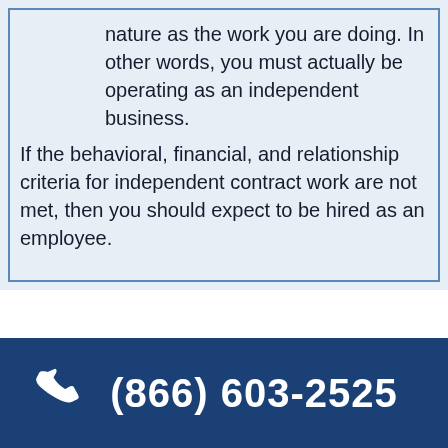nature as the work you are doing. In other words, you must actually be operating as an independent business.
If the behavioral, financial, and relationship criteria for independent contract work are not met, then you should expect to be hired as an employee.
(866) 603-2525